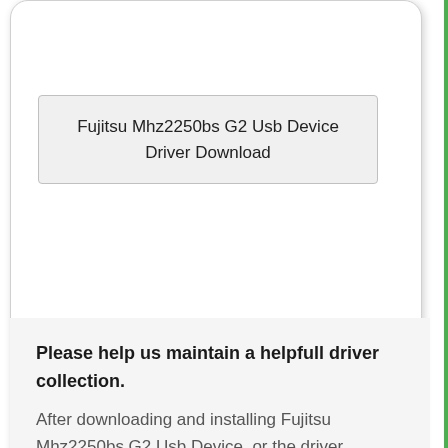Fujitsu Mhz2250bs G2 Usb Device Driver Download
Please help us maintain a helpfull driver collection.
After downloading and installing Fujitsu Mhz2250bs G2 Usb Device, or the driver